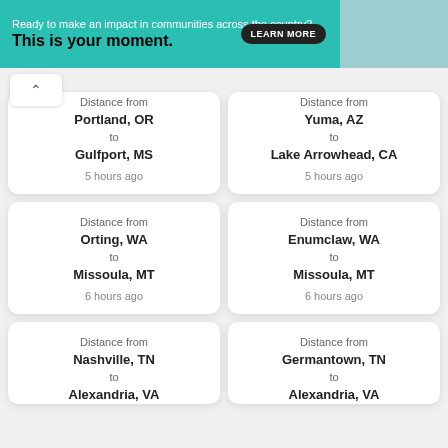[Figure (photo): Teal/turquoise banner ad: 'Ready to make an impact in communities across the country? This is your moment.' with a LEARN MORE button and a person photo on the right.]
Distance from Portland, OR to Gulfport, MS
5 hours ago
Distance from Yuma, AZ to Lake Arrowhead, CA
5 hours ago
Distance from Orting, WA to Missoula, MT
6 hours ago
Distance from Enumclaw, WA to Missoula, MT
6 hours ago
Distance from Nashville, TN to Alexandria, VA
Distance from Germantown, TN to Alexandria, VA